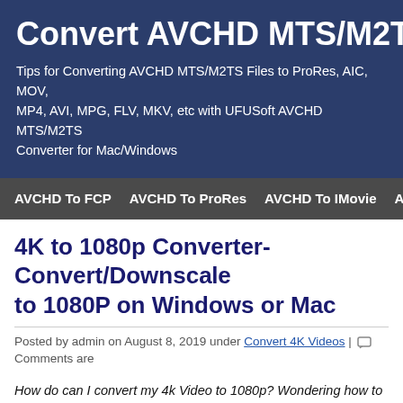Convert AVCHD MTS/M2TS
Tips for Converting AVCHD MTS/M2TS Files to ProRes, AIC, MOV, MP4, AVI, MPG, FLV, MKV, etc with UFUSoft AVCHD MTS/M2TS Converter for Mac/Windows
AVCHD To FCP | AVCHD To ProRes | AVCHD To IMovie | AVCHD
4K to 1080p Converter-Convert/Downscale 4K to 1080P on Windows or Mac
Posted by admin on August 8, 2019 under Convert 4K Videos | Comments are
How do can I convert my 4k Video to 1080p? Wondering how to downscale videos to 1080p? With this detailed step by step guide along with screens, convert videos from 4K to 1080p for free with the best free HD video conv
4K (Ultra HD or UHD), the latest TV technology buzzword, is now being e system, commercial digital cinema projection and digital camcorders To